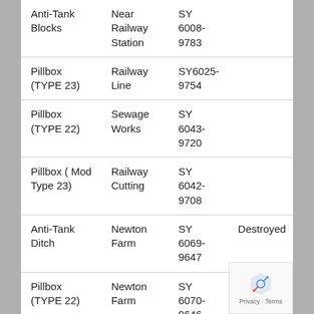| Type | Location | Grid Ref | Notes |
| --- | --- | --- | --- |
| Anti-Tank Blocks | Near Railway Station | SY 6008-9783 |  |
| Pillbox (TYPE 23) | Railway Line | SY6025-9754 |  |
| Pillbox (TYPE 22) | Sewage Works | SY 6043-9720 |  |
| Pillbox ( Mod Type 23) | Railway Cutting | SY 6042-9708 |  |
| Anti-Tank Ditch | Newton Farm | SY 6069-9647 | Destroyed |
| Pillbox (TYPE 22) | Newton Farm | SY 6070-9646 |  |
| Anti-Tank Obstacles | Under Railway Bridge | SY 6076-9642 | Destroyed |